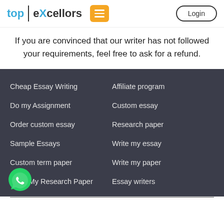top | eXcellors
If you are convinced that our writer has not followed your requirements, feel free to ask for a refund.
Cheap Essay Writing
Affiliate program
Do my Assignment
Custom essay
Order custom essay
Research paper
Sample Essays
Write my essay
Custom term paper
Write my paper
Write My Research Paper
Essay writers